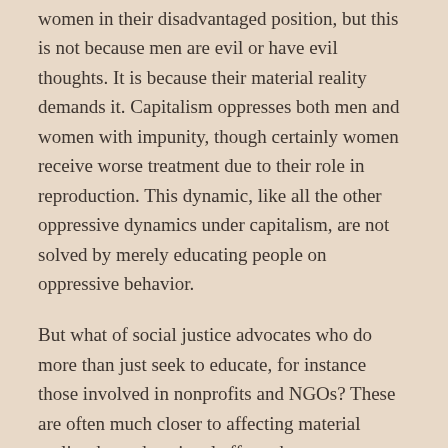women in their disadvantaged position, but this is not because men are evil or have evil thoughts. It is because their material reality demands it. Capitalism oppresses both men and women with impunity, though certainly women receive worse treatment due to their role in reproduction. This dynamic, like all the other oppressive dynamics under capitalism, are not solved by merely educating people on oppressive behavior.
But what of social justice advocates who do more than just seek to educate, for instance those involved in nonprofits and NGOs? These are often much closer to affecting material reality than educational efforts, but unfortunately they are also insufficient. Nonprofits and NGOs, even if their stated goal is to bring about some positive material change for an oppressed group, is still subject to the whims of the capitalist system. Salaries